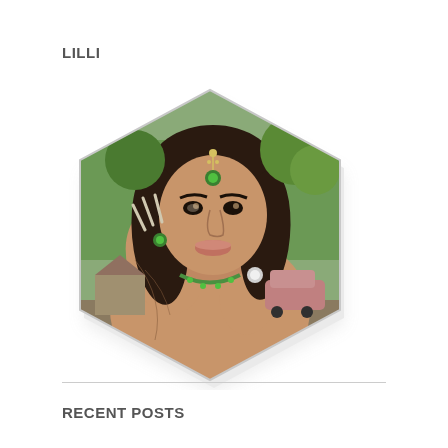LILLI
[Figure (illustration): A digital 3D avatar of a woman with dark hair, wearing green gemstone jewelry including a maang tikka headpiece, green ring, and green necklace. She has tattoos on her hand and is posing with her hands near her face. The background shows an outdoor rural scene with old cars and trees. The image is clipped in a hexagon shape with a drop shadow.]
RECENT POSTS